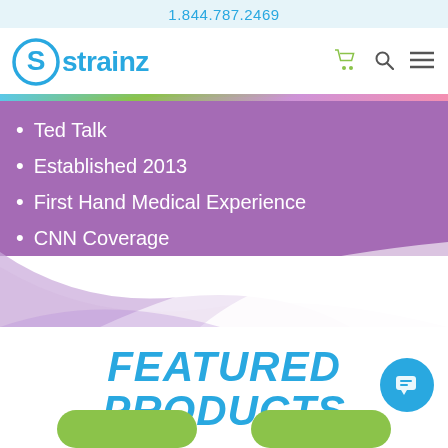1.844.787.2469
[Figure (logo): Strainz logo with circular S icon and brand name in blue]
Ted Talk
Established 2013
First Hand Medical Experience
CNN Coverage
FEATURED PRODUCTS
[Figure (illustration): Chat/support button icon (teal circle with message lines)]
[Figure (illustration): Two green rounded rectangle buttons at the bottom of the page]